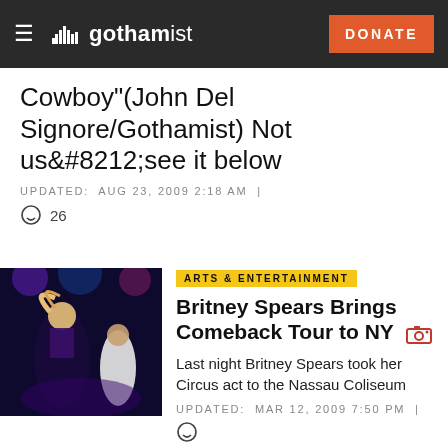gothamist — DONATE
Cowboy"(John Del Signore/Gothamist) Not us&#8212;see it below
UPDATED: AUG 23, 2009 2:18 AM |
26
ARTS & ENTERTAINMENT
Britney Spears Brings Comeback Tour to NY
Last night Britney Spears took her Circus act to the Nassau Coliseum
UPDATED: MAR 12, 2009 7:50 PM |